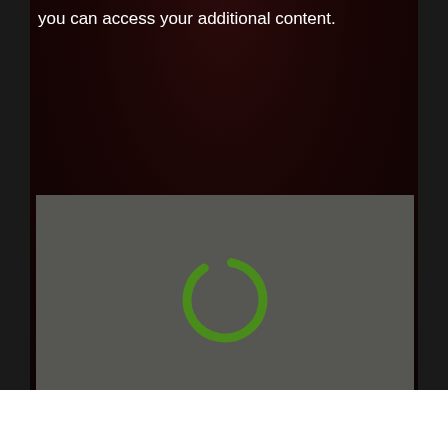you can access your additional content.
[Figure (screenshot): A dark-themed media player or loading screen showing a green circular loading spinner on a grey/dark background panel.]